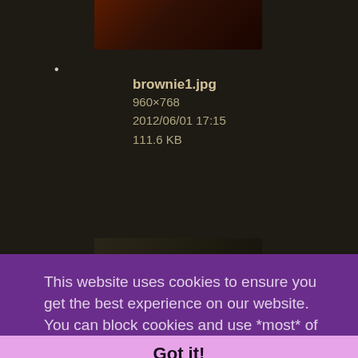[Figure (photo): Thumbnail image of brownie1.jpg showing a dark reddish scene]
brownie1.jpg
960×768
2012/06/01 17:15
111.6 KB
[Figure (photo): Thumbnail image of brownie2.jpg showing a dark brownish dungeon/game scene]
brownie2.jpg
This website uses cookies to ensure you get the best experience on our website. You can block cookies and use *most* of the site just fine. TODOpolicy
Got it!
2012/08/21 14:06